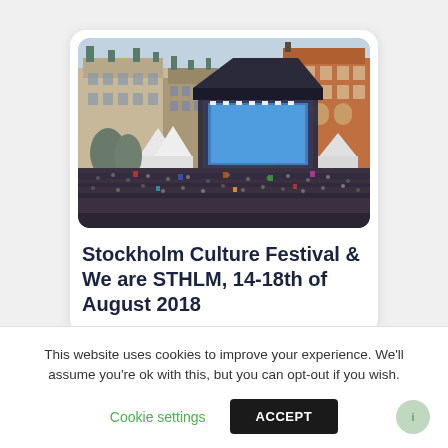[Figure (photo): Aerial view of Stockholm Culture Festival with a large outdoor concert stage, crowd of people, and historic Stockholm city buildings in the background.]
Stockholm Culture Festival & We are STHLM, 14-18th of August 2018
This website uses cookies to improve your experience. We'll assume you're ok with this, but you can opt-out if you wish.
Cookie settings    ACCEPT